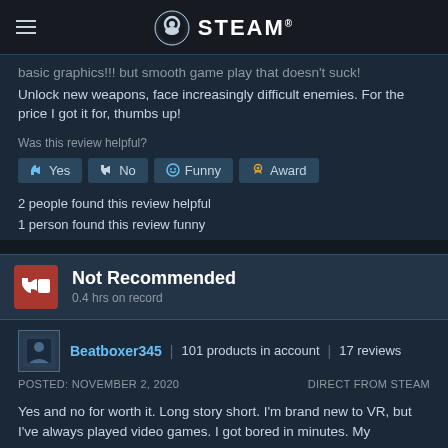STEAM
basic graphics!!! but smooth game play that doesn't suck! Unlock new weapons, face increasingly difficult enemies. For the price I got it for, thumbs up!
Was this review helpful?
Yes | No | Funny | Award
2 people found this review helpful
1 person found this review funny
Not Recommended
0.4 hrs on record
Beatboxer345 | 101 products in account | 17 reviews
POSTED: NOVEMBER 2, 2020    DIRECT FROM STEAM
Yes and no for worth it. Long story short. I'm brand new to VR, but I've always played video games. I got bored in minutes. My